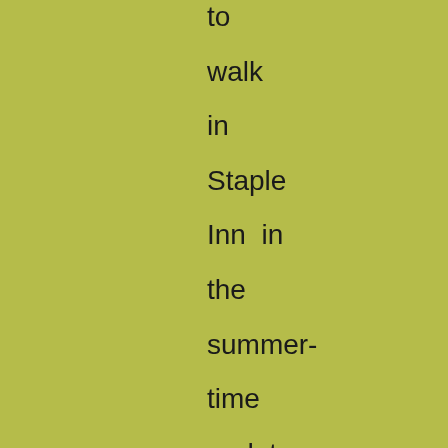to
walk
in
Staple
Inn  in
the
summer-
time
and  to
observe
how
countrified
the
sparrows
and
the
leaves
are,
also to